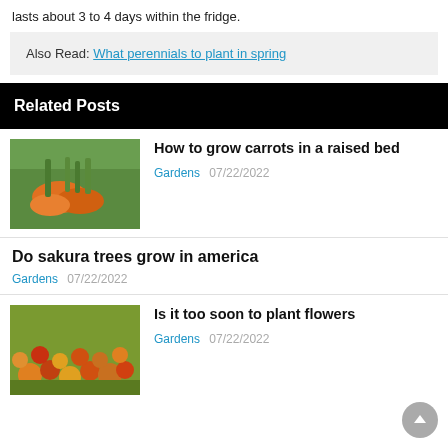lasts about 3 to 4 days within the fridge.
Also Read: What perennials to plant in spring
Related Posts
How to grow carrots in a raised bed
Gardens  07/22/2022
Do sakura trees grow in america
Gardens  07/22/2022
Is it too soon to plant flowers
Gardens  07/22/2022